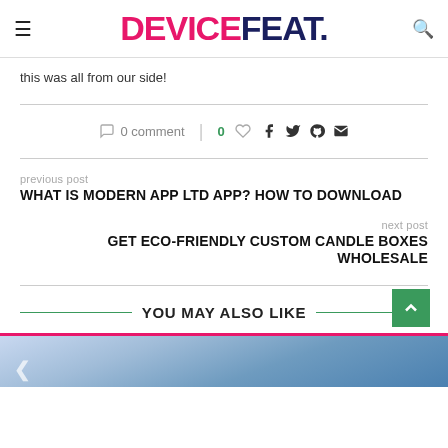DEVICEFEAT.
this was all from our side!
0 comment | 0 ♡ f 𝕏 𝒫 ✉
previous post
WHAT IS MODERN APP LTD APP? HOW TO DOWNLOAD
next post
GET ECO-FRIENDLY CUSTOM CANDLE BOXES WHOLESALE
YOU MAY ALSO LIKE
[Figure (photo): Partially visible image below the You May Also Like section, appears to be a blue sky or landscape with a red bar at the top]